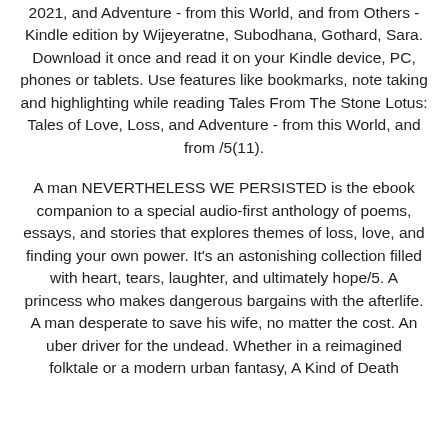2021, and Adventure - from this World, and from Others - Kindle edition by Wijeyeratne, Subodhana, Gothard, Sara. Download it once and read it on your Kindle device, PC, phones or tablets. Use features like bookmarks, note taking and highlighting while reading Tales From The Stone Lotus: Tales of Love, Loss, and Adventure - from this World, and from /5(11).
A man NEVERTHELESS WE PERSISTED is the ebook companion to a special audio-first anthology of poems, essays, and stories that explores themes of loss, love, and finding your own power. It's an astonishing collection filled with heart, tears, laughter, and ultimately hope/5. A princess who makes dangerous bargains with the afterlife. A man desperate to save his wife, no matter the cost. An uber driver for the undead. Whether in a reimagined folktale or a modern urban fantasy, A Kind of Death